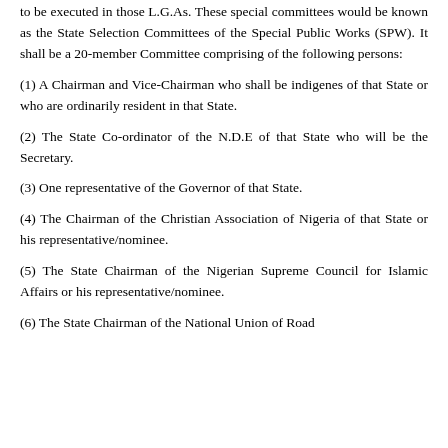to be executed in those L.G.As. These special committees would be known as the State Selection Committees of the Special Public Works (SPW). It shall be a 20-member Committee comprising of the following persons:
(1) A Chairman and Vice-Chairman who shall be indigenes of that State or who are ordinarily resident in that State.
(2) The State Co-ordinator of the N.D.E of that State who will be the Secretary.
(3) One representative of the Governor of that State.
(4) The Chairman of the Christian Association of Nigeria of that State or his representative/nominee.
(5) The State Chairman of the Nigerian Supreme Council for Islamic Affairs or his representative/nominee.
(6) The State Chairman of the National Union of Road